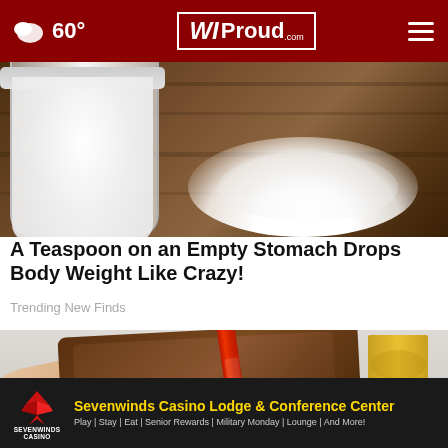WI Proud .com — 60°
[Figure (photo): Photo of a sugar jar with white sugar spilled on a wooden surface]
A Teaspoon on an Empty Stomach Drops Body Weight Like Crazy!
Trending New Finds
[Figure (photo): Photo of a hand placing a Crayola crayon into a brown leather wallet]
[Figure (other): Sevenwinds Casino Lodge & Conference Center advertisement banner. Text: Play | Stay | Eat | Senior Rewards | Military Monday | Lounge | And More!]